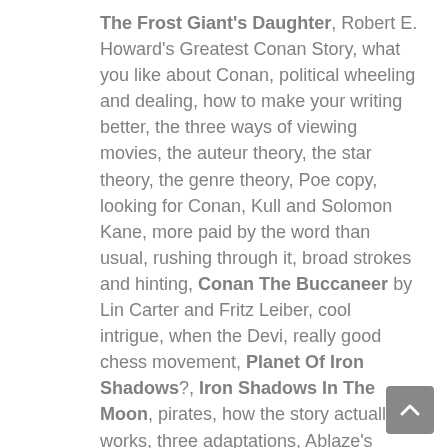The Frost Giant's Daughter, Robert E. Howard's Greatest Conan Story, what you like about Conan, political wheeling and dealing, how to make your writing better, the three ways of viewing movies, the auteur theory, the star theory, the genre theory, Poe copy, looking for Conan, Kull and Solomon Kane, more paid by the word than usual, rushing through it, broad strokes and hinting, Conan The Buccaneer by Lin Carter and Fritz Leiber, cool intrigue, when the Devi, really good chess movement, Planet Of Iron Shadows?, Iron Shadows In The Moon, pirates, how the story actually works, three adaptations, Ablaze's French translation, Dark Horse, Marvel's full SSOC adaptation, gorgeous, atmospheric, action panels, covered in veils and things, trades clothes with the hill woman, smoky mystic, half naked before and half naked again, Alfredo Alcala's inks are unfinished, John Buscema's pencil's, rocks are beautiful, scales and turbans and clouds of dust, the decline in comics, what